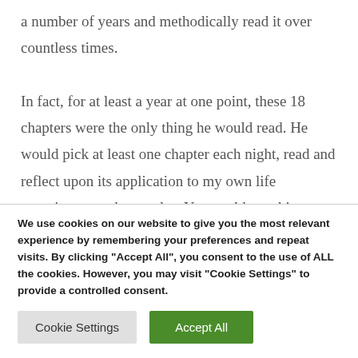a number of years and methodically read it over countless times.
In fact, for at least a year at one point, these 18 chapters were the only thing he would read. He would pick at least one chapter each night, read and reflect upon its application to my own life experiences and struggles. You could use this course in the same
We use cookies on our website to give you the most relevant experience by remembering your preferences and repeat visits. By clicking "Accept All", you consent to the use of ALL the cookies. However, you may visit "Cookie Settings" to provide a controlled consent.